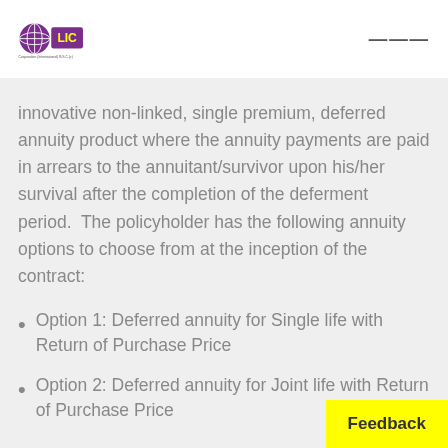[Figure (logo): LIC International logo — globe icon with purple background and yellow 'LIC' text]
innovative non-linked, single premium, deferred annuity product where the annuity payments are paid in arrears to the annuitant/survivor upon his/her survival after the completion of the deferment period.  The policyholder has the following annuity options to choose from at the inception of the contract:
Option 1: Deferred annuity for Single life with Return of Purchase Price
Option 2: Deferred annuity for Joint life with Return of Purchase Price